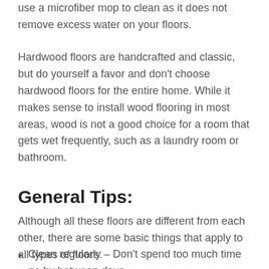use a microfiber mop to clean as it does not remove excess water on your floors.
Hardwood floors are handcrafted and classic, but do yourself a favor and don't choose hardwood floors for the entire home. While it makes sense to install wood flooring in most areas, wood is not a good choice for a room that gets wet frequently, such as a laundry room or bathroom.
General Tips:
Although all these floors are different from each other, there are some basic things that apply to all types of floors.
Clean regularly – Don't spend too much time go by between days